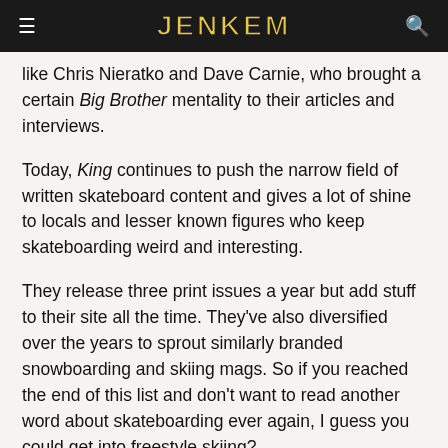JENKEM
like Chris Nieratko and Dave Carnie, who brought a certain Big Brother mentality to their articles and interviews.
Today, King continues to push the narrow field of written skateboard content and gives a lot of shine to locals and lesser known figures who keep skateboarding weird and interesting.
They release three print issues a year but add stuff to their site all the time. They’ve also diversified over the years to sprout similarly branded snowboarding and skiing mags. So if you reached the end of this list and don’t want to read another word about skateboarding ever again, I guess you could get into freestyle skiing?
[Figure (illustration): A decorative wavy/squiggly divider line in black]